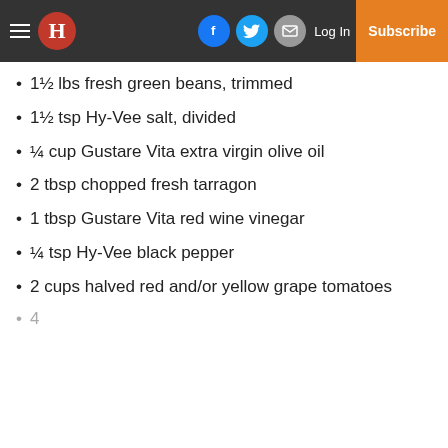H [logo] | Facebook | Twitter | Email | Log In | Subscribe
1½ lbs fresh green beans, trimmed
1½ tsp Hy-Vee salt, divided
¼ cup Gustare Vita extra virgin olive oil
2 tbsp chopped fresh tarragon
1 tbsp Gustare Vita red wine vinegar
¼ tsp Hy-Vee black pepper
2 cups halved red and/or yellow grape tomatoes
(partially visible item)